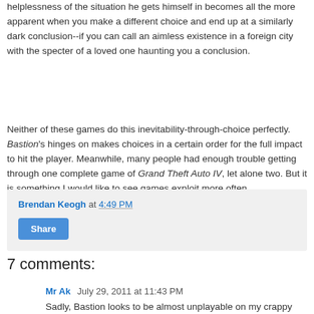helplessness of the situation he gets himself in becomes all the more apparent when you make a different choice and end up at a similarly dark conclusion--if you can call an aimless existence in a foreign city with the specter of a loved one haunting you a conclusion.
Neither of these games do this inevitability-through-choice perfectly. Bastion's hinges on makes choices in a certain order for the full impact to hit the player. Meanwhile, many people had enough trouble getting through one complete game of Grand Theft Auto IV, let alone two. But it is something I would like to see games exploit more often.
Brendan Keogh at 4:49 PM
Share
7 comments:
Mr Ak  July 29, 2011 at 11:43 PM
Sadly, Bastion looks to be almost unplayable on my crappy